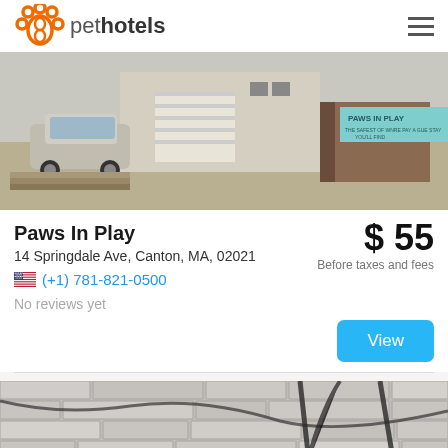pet hotels
[Figure (photo): Street view photo of Paws In Play facility exterior with a car parked and a teal sign reading 'PAWS IN PLAY']
Paws In Play
14 Springdale Ave, Canton, MA, 02021
(+1) 781-821-0500
No reviews yet
$ 55
Before taxes and fees
[Figure (photo): Stone wall exterior photo with shadows of branches]